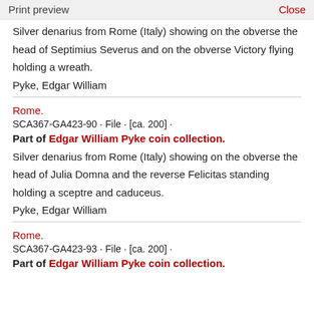Print preview   Close
Silver denarius from Rome (Italy) showing on the obverse the head of Septimius Severus and on the obverse Victory flying holding a wreath.
Pyke, Edgar William
Rome.
SCA367-GA423-90 · File · [ca. 200] ·
Part of Edgar William Pyke coin collection.
Silver denarius from Rome (Italy) showing on the obverse the head of Julia Domna and the reverse Felicitas standing holding a sceptre and caduceus.
Pyke, Edgar William
Rome.
SCA367-GA423-93 · File · [ca. 200] ·
Part of Edgar William Pyke coin collection.